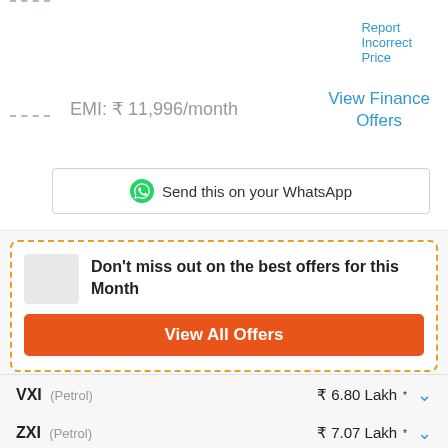Report Incorrect Price
EMI: ₹ 11,996/month
View Finance Offers
Send this on your WhatsApp
Don't miss out on the best offers for this Month
View All Offers
VXI (Petrol)  ₹ 6.80 Lakh*
ZXI (Petrol)  ₹ 7.07 Lakh*